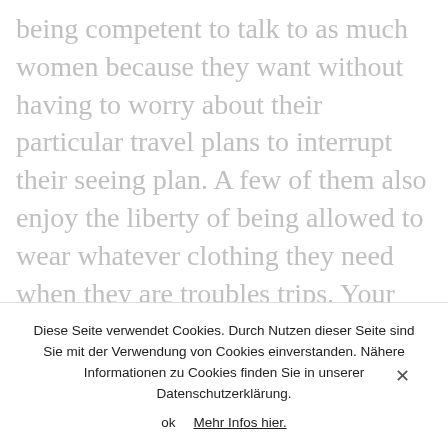being competent to talk to as much women because they want without having to worry about their particular travel plans to interrupt their seeing plan. A few of them also enjoy the liberty of being allowed to wear whatever clothing they need when they are troubles trips. Your children, being able to have on the apparel they want assists them project a sense of looseness which sucks in women
Diese Seite verwendet Cookies. Durch Nutzen dieser Seite sind Sie mit der Verwendung von Cookies einverstanden. Nähere Informationen zu Cookies finden Sie in unserer Datenschutzerklärung.
ok   Mehr Infos hier.